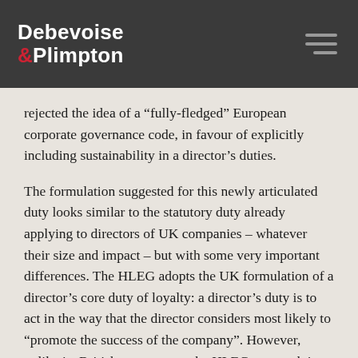Debevoise & Plimpton
rejected the idea of a “fully-fledged” European corporate governance code, in favour of explicitly including sustainability in a director’s duties.
The formulation suggested for this newly articulated duty looks similar to the statutory duty already applying to directors of UK companies – whatever their size and impact – but with some very important differences. The HLEG adopts the UK formulation of a director’s core duty of loyalty: a director’s duty is to act in the way that the director considers most likely to “promote the success of the company”. However, unlike its British counterpart, the HLEG approach is to give equal weighting to “shareholders and other stakeholders” when specifying how a company’s “success” is measured. The list of